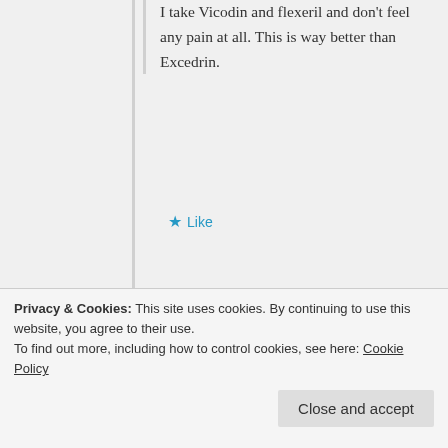I take Vicodin and flexeril and don't feel any pain at all. This is way better than Excedrin.
★ Like
↪ Reply
Brandy Ellington
August 8, 2012 at 1:51 pm
I really want to know when you will start calling...
★ Like
Privacy & Cookies: This site uses cookies. By continuing to use this website, you agree to their use. To find out more, including how to control cookies, see here: Cookie Policy
Close and accept